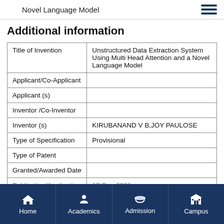Novel Language Model
Additional information
| Field | Value |
| --- | --- |
| Title of Invention | Unstructured Data Extraction System Using Multi Head Attention and a Novel Language Model |
| Applicant/Co-Applicant |  |
| Applicant (s) |  |
| Inventor /Co-Inventor |  |
| Inventor (s) | KIRUBANAND V B,JOY PAULOSE |
| Type of Specification | Provisional |
| Type of Patent |  |
| Granted/Awarded Date |  |
| Publication/Application Date | 17-Dec-2021 |
| Application/Filing Date | 05-Dec-2021 |
Home | Academics | Admission | Campus